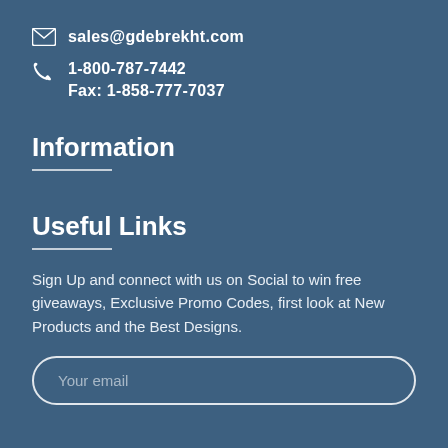sales@gdebrekht.com
1-800-787-7442
Fax: 1-858-777-7037
Information
Useful Links
Sign Up and connect with us on Social to win free giveaways, Exclusive Promo Codes, first look at New Products and the Best Designs.
Your email